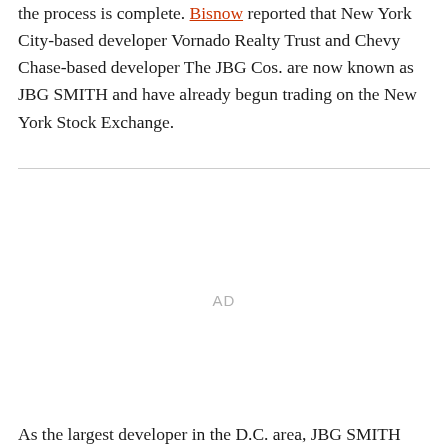the process is complete. Bisnow reported that New York City-based developer Vornado Realty Trust and Chevy Chase-based developer The JBG Cos. are now known as JBG SMITH and have already begun trading on the New York Stock Exchange.
[Figure (other): Advertisement placeholder block with 'AD' label centered]
As the largest developer in the D.C. area, JBG SMITH